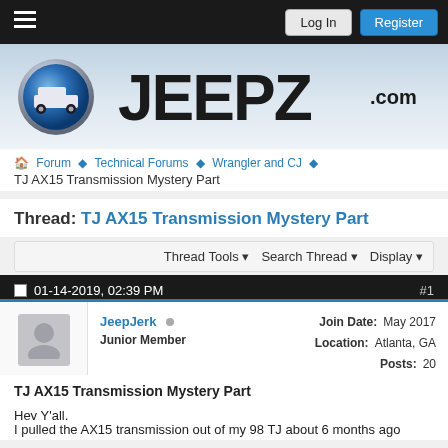Log In  Register
[Figure (logo): JEEPZ.com logo with blue globe icon and bold JEEPZ text]
Forum › Technical Forums › Wrangler and CJ › TJ AX15 Transmission Mystery Part
Thread: TJ AX15 Transmission Mystery Part
Thread Tools ▾  Search Thread ▾  Display ▾
01-14-2019, 02:39 PM  #1
JeepJerk  Junior Member  Join Date: May 2017  Location: Atlanta, GA  Posts: 20
TJ AX15 Transmission Mystery Part
Hey Y'all,
I pulled the AX15 transmission out of my 98 TJ about 6 months ago